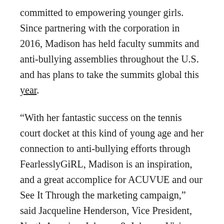committed to empowering younger girls. Since partnering with the corporation in 2016, Madison has held faculty summits and anti-bullying assemblies throughout the U.S. and has plans to take the summits global this year.
“With her fantastic success on the tennis court docket at this kind of young age and her connection to anti-bullying efforts through FearlesslyGiRL, Madison is an inspiration, and a great accomplice for ACUVUE and our See It Through the marketing campaign,” said Jacqueline Henderson, Vice President, North America, Johnson & Johnson Vision Care, Inc. “We aim to foster confidence and percentage motivational stories with the hundreds of